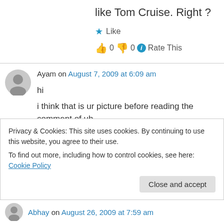like Tom Cruise. Right ?
★ Like
👍 0 👎 0 ℹ Rate This
Ayam on August 7, 2009 at 6:09 am
hi

i think that is ur picture before reading the comment of uh.

i m laughing now
Privacy & Cookies: This site uses cookies. By continuing to use this website, you agree to their use.
To find out more, including how to control cookies, see here: Cookie Policy
Close and accept
Abhay on August 26, 2009 at 7:59 am